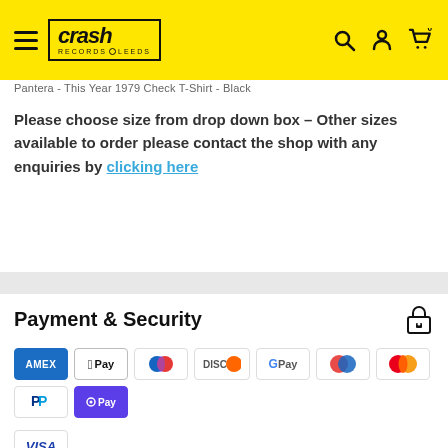Crash Records Leeds — navigation header with hamburger menu, logo, search, account, and cart icons
Pantera - This Year 1979 Check T-Shirt - Black
Please choose size from drop down box – Other sizes available to order please contact the shop with any enquiries by clicking here
Payment & Security
[Figure (infographic): Payment method icons: American Express, Apple Pay, Diners Club, Discover, Google Pay, Maestro, Mastercard, PayPal, Shop Pay, Visa]
Your payment information is processed securely. We do not store credit card details nor have access to your credit card information.